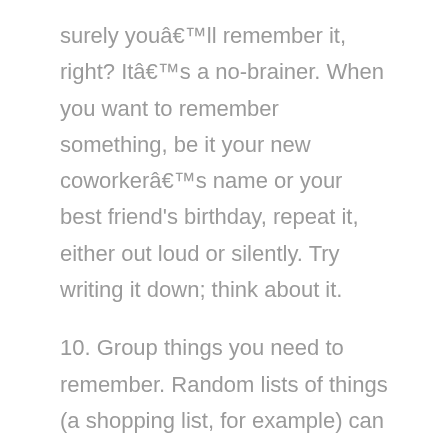surely you'll remember it, right? It's a no-brainer. When you want to remember something, be it your new coworker's name or your best friend's birthday, repeat it, either out loud or silently. Try writing it down; think about it.
10. Group things you need to remember. Random lists of things (a shopping list, for example) can be especially difficult to remember. To make it easier, try categorizing the individual things from the list. If you can remember that, among other things, you wanted to buy four different kinds of vegetables, you'll find it easier to remember all four.
11. Organize your life. Keep items that you